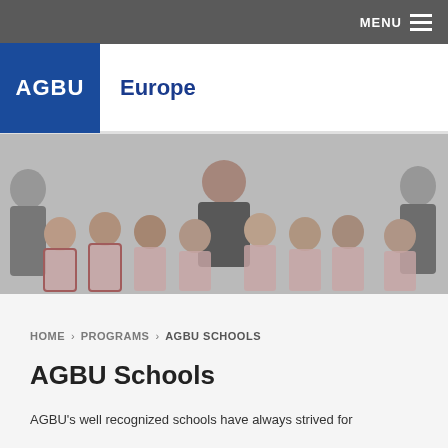MENU
AGBU Europe
[Figure (photo): Group photo of schoolgirls in plaid uniforms with a female teacher/adult, smiling at the camera]
HOME > PROGRAMS > AGBU SCHOOLS
AGBU Schools
AGBU's well recognized schools have always strived for